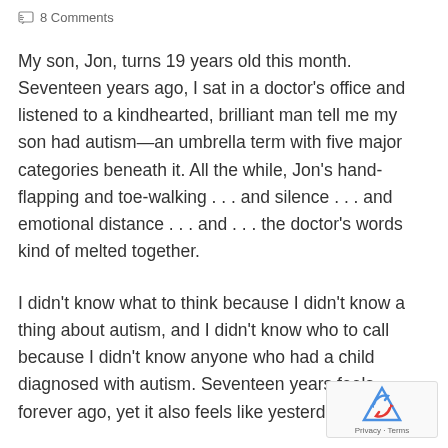8 Comments
My son, Jon, turns 19 years old this month. Seventeen years ago, I sat in a doctor's office and listened to a kindhearted, brilliant man tell me my son had autism—an umbrella term with five major categories beneath it. All the while, Jon's hand-flapping and toe-walking . . . and silence . . . and emotional distance . . . and . . . the doctor's words kind of melted together.
I didn't know what to think because I didn't know a thing about autism, and I didn't know who to call because I didn't know anyone who had a child diagnosed with autism. Seventeen years feels forever ago, yet it also feels like yesterday.